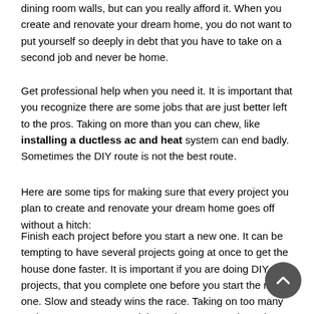dining room walls, but can you really afford it. When you create and renovate your dream home, you do not want to put yourself so deeply in debt that you have to take on a second job and never be home.
Get professional help when you need it. It is important that you recognize there are some jobs that are just better left to the pros. Taking on more than you can chew, like installing a ductless ac and heat system can end badly. Sometimes the DIY route is not the best route.
Here are some tips for making sure that every project you plan to create and renovate your dream home goes off without a hitch:
Finish each project before you start a new one. It can be tempting to have several projects going at once to get the house done faster. It is important if you are doing DIY projects, that you complete one before you start the new one. Slow and steady wins the race. Taking on too many projects at once can result in cutting corners where they should not be cut and low-quality results.